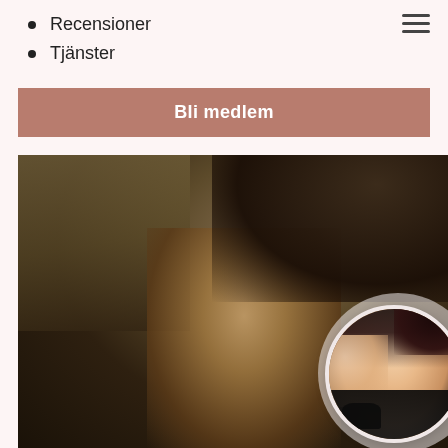Recensioner
Tjänster
Bli medlem
[Figure (photo): Main artistic photo showing a figure lying down with warm brown tones, with a circular avatar portrait inset at bottom right showing a blonde woman in black lingerie.]